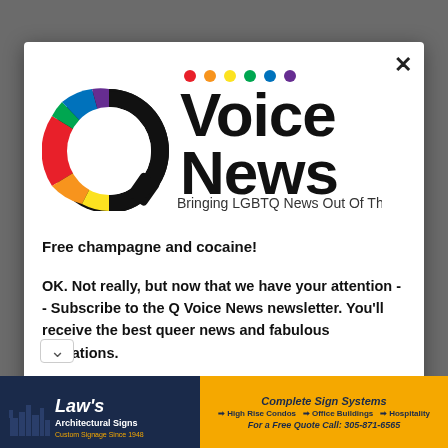[Figure (logo): Q Voice News logo with rainbow Q and colored dots above 'Voice News' text, tagline 'Bringing LGBTQ News Out Of The Closet']
Free champagne and cocaine!
OK. Not really, but now that we have your attention -- Subscribe to the Q Voice News newsletter. You'll receive the best queer news and fabulous invitations.
Enter your email
[Figure (screenshot): Advertisement banner for Law's Architectural Signs and Complete Sign Systems. Left side dark blue with city skyline silhouette and text 'Law's Architectural Signs Custom Signage Since 1948'. Right side orange/yellow with 'Complete Sign Systems -> High Rise Condos -> Office Buildings -> Hospitality. For a Free Quote Call: 305-871-6565']